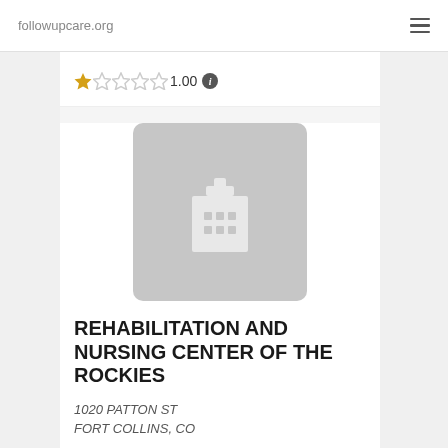followupcare.org
[Figure (other): Star rating showing 1.00 out of 5, with one filled star and four empty stars, followed by an info icon]
[Figure (illustration): Gray rounded square placeholder image with a white hospital building icon (cross on top, windows as dots)]
REHABILITATION AND NURSING CENTER OF THE ROCKIES
1020 PATTON ST
FORT COLLINS, CO